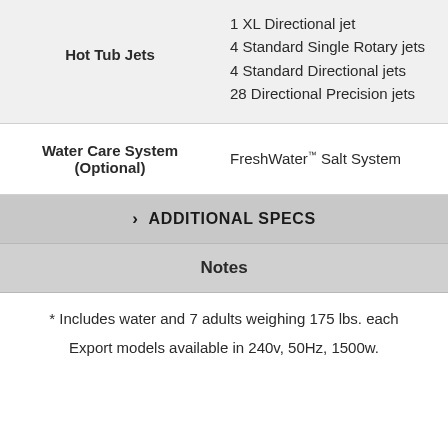| Feature | Value |
| --- | --- |
| Hot Tub Jets | 1 XL Directional jet
4 Standard Single Rotary jets
4 Standard Directional jets
28 Directional Precision jets |
| Water Care System (Optional) | FreshWater™ Salt System |
› ADDITIONAL SPECS
Notes
* Includes water and 7 adults weighing 175 lbs. each
Export models available in 240v, 50Hz, 1500w.